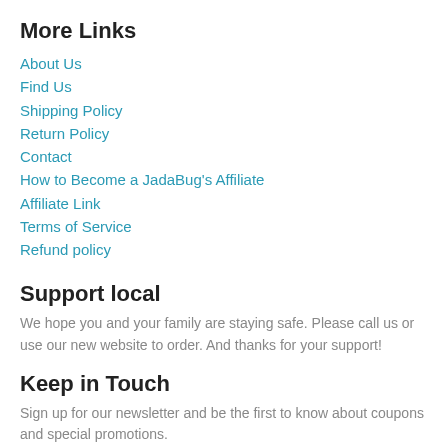More Links
About Us
Find Us
Shipping Policy
Return Policy
Contact
How to Become a JadaBug's Affiliate
Affiliate Link
Terms of Service
Refund policy
Support local
We hope you and your family are staying safe. Please call us or use our new website to order. And thanks for your support!
Keep in Touch
Sign up for our newsletter and be the first to know about coupons and special promotions.